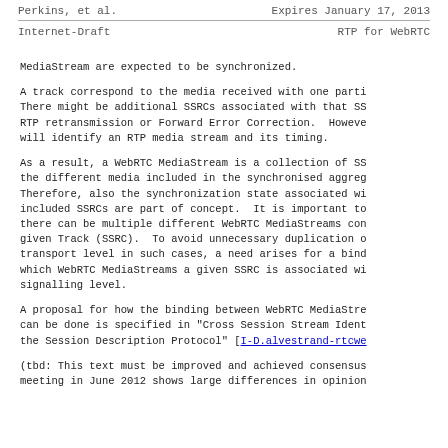Perkins, et al.    Expires January 17, 2013
Internet-Draft                    RTP for WebRTC
MediaStream are expected to be synchronized.
A track correspond to the media received with one parti. There might be additional SSRCs associated with that SS RTP retransmission or Forward Error Correction.  Howeve will identify an RTP media stream and its timing.
As a result, a WebRTC MediaStream is a collection of SS the different media included in the synchronised aggreg Therefore, also the synchronization state associated wi included SSRCs are part of concept.  It is important to there can be multiple different WebRTC MediaStreams con given Track (SSRC).  To avoid unnecessary duplication o transport level in such cases, a need arises for a bind which WebRTC MediaStreams a given SSRC is associated wi signalling level.
A proposal for how the binding between WebRTC MediaStre can be done is specified in "Cross Session Stream Ident the Session Description Protocol" [I-D.alvestrand-rtcwe
(tbd: This text must be improved and achieved consensus meeting in June 2012 shows large differences in opinion